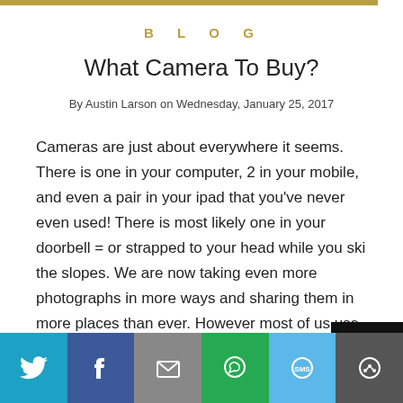BLOG
What Camera To Buy?
By Austin Larson on Wednesday, January 25, 2017
Cameras are just about everywhere it seems. There is one in your computer, 2 in your mobile, and even a pair in your ipad that you've never even used! There is most likely one in your doorbell = or strapped to your head while you ski the slopes. We are now taking even more photographs in more ways and sharing them in more places than ever. However most of us use only use cameras with the bare minimum of knowledge, just pointing and shooting and hoping for an instagram moment. And even if you're
[Figure (infographic): Social share bar with Twitter, Facebook, Email, WhatsApp, SMS, and More buttons at the bottom of the page]